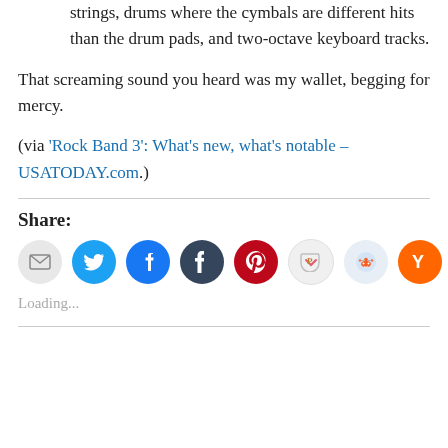strings, drums where the cymbals are different hits than the drum pads, and two-octave keyboard tracks.
That screaming sound you heard was my wallet, begging for mercy.
(via 'Rock Band 3': What's new, what's notable – USATODAY.com.)
Share:
[Figure (infographic): Row of social share icon buttons: email, Twitter, Facebook, Tumblr, Pinterest, Pocket, Reddit, Hacker News (Y Combinator), Instapaper]
Loading...